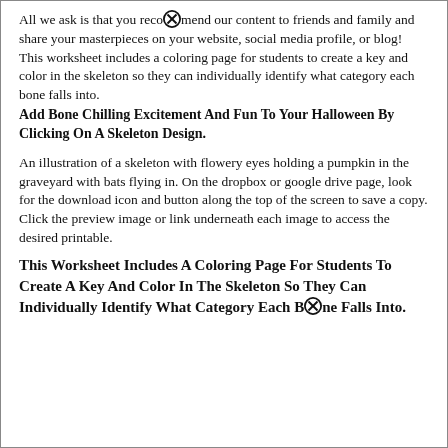All we ask is that you recommend our content to friends and family and share your masterpieces on your website, social media profile, or blog! This worksheet includes a coloring page for students to create a key and color in the skeleton so they can individually identify what category each bone falls into.
Add Bone Chilling Excitement And Fun To Your Halloween By Clicking On A Skeleton Design.
An illustration of a skeleton with flowery eyes holding a pumpkin in the graveyard with bats flying in. On the dropbox or google drive page, look for the download icon and button along the top of the screen to save a copy. Click the preview image or link underneath each image to access the desired printable.
This Worksheet Includes A Coloring Page For Students To Create A Key And Color In The Skeleton So They Can Individually Identify What Category Each Bone Falls Into.